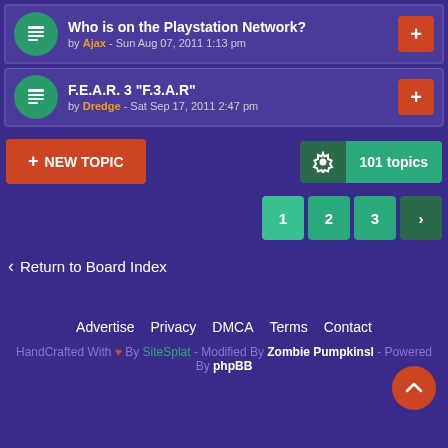Who is on the Playstation Network? by Ajax - Sun Aug 07, 2011 1:13 pm
F.E.A.R. 3 "F.3.A.R" by Dredge - Sat Sep 17, 2011 2:47 pm
+ NEW TOPIC   101 topics
Pagination: 1 2 3 >
< Return to Board Index
Advertise  Privacy  DMCA  Terms  Contact
HandCrafted With ♥ By SiteSplat - Modified By Zombie Pumpkinsl - Powered By phpBB